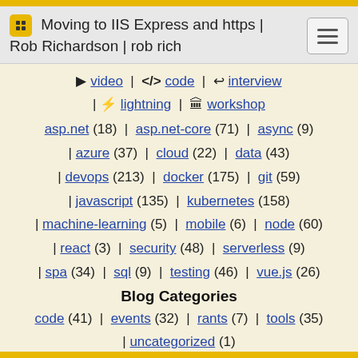Moving to IIS Express and https | Rob Richardson | rob rich
video | code | interview | lightning | workshop
asp.net (18) | asp.net-core (71) | async (9) | azure (37) | cloud (22) | data (43) | devops (213) | docker (175) | git (59) | javascript (135) | kubernetes (158) | machine-learning (5) | mobile (6) | node (60) | react (3) | security (48) | serverless (9) | spa (34) | sql (9) | testing (46) | vue.js (26)
Blog Categories
code (41) | events (32) | rants (7) | tools (35) | uncategorized (1)
© Richardson & Sons, LLC. All rights reserved.